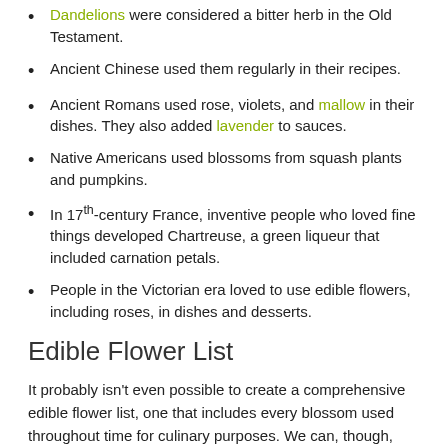Dandelions were considered a bitter herb in the Old Testament.
Ancient Chinese used them regularly in their recipes.
Ancient Romans used rose, violets, and mallow in their dishes. They also added lavender to sauces.
Native Americans used blossoms from squash plants and pumpkins.
In 17th-century France, inventive people who loved fine things developed Chartreuse, a green liqueur that included carnation petals.
People in the Victorian era loved to use edible flowers, including roses, in dishes and desserts.
Edible Flower List
It probably isn't even possible to create a comprehensive edible flower list, one that includes every blossom used throughout time for culinary purposes. We can, though, share a list of those we grow at The Chef's Garden, one that actually are edible...